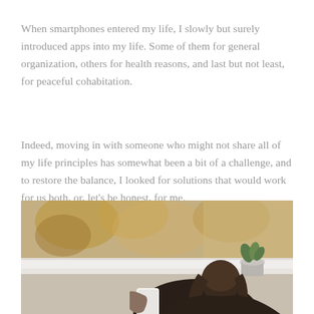When smartphones entered my life, I slowly but surely introduced apps into my life. Some of them for general organization, others for health reasons, and last but not least, for peaceful cohabitation.
Indeed, moving in with someone who might not share all of my life principles has somewhat been a bit of a challenge, and to restore the balance, I looked for solutions that would work for us both, or, let's be honest, for me.
[Figure (photo): A person viewed from behind looking at a smartphone, seated near a window. A small potted plant is visible on the windowsill. The background shows blurred autumn foliage outside the window.]